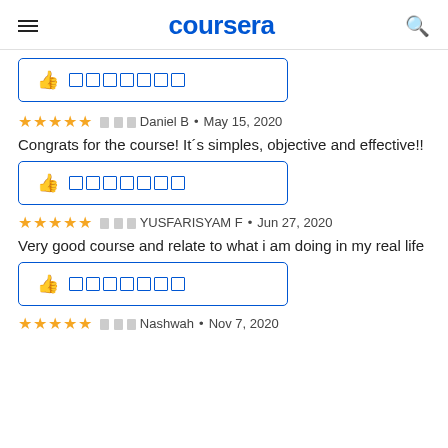coursera
[Figure (other): Like/helpful button box with thumbs up icon and blue bordered rectangle]
⬛⬛⬛ Daniel B · May 15, 2020
Congrats for the course! It´s simples, objective and effective!!
[Figure (other): Like/helpful button box with thumbs up icon and blue bordered rectangle]
⬛⬛⬛ YUSFARISYAM F · Jun 27, 2020
Very good course and relate to what i am doing in my real life
[Figure (other): Like/helpful button box with thumbs up icon and blue bordered rectangle]
⬛⬛⬛ Nashwah · Nov 7, 2020